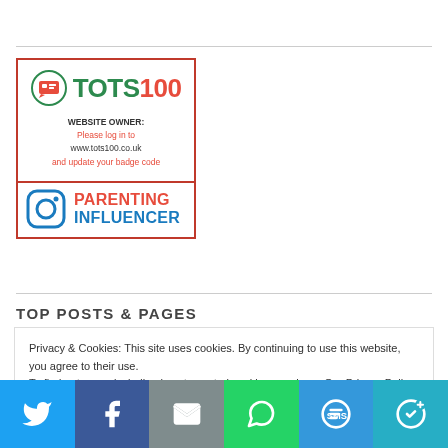[Figure (logo): TOTS100 badge with parenting influencer Instagram badge. Top section shows TOTS100 logo with speech bubble icon, text 'WEBSITE OWNER: Please log in to www.tots100.co.uk and update your badge code'. Bottom section shows Instagram icon with 'PARENTING INFLUENCER' text.]
TOP POSTS & PAGES
Privacy & Cookies: This site uses cookies. By continuing to use this website, you agree to their use. To find out more, including how to control cookies, see here: Our Privacy Policy